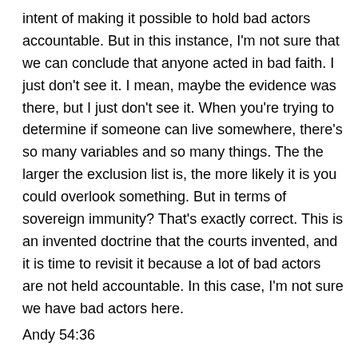intent of making it possible to hold bad actors accountable. But in this instance, I'm not sure that we can conclude that anyone acted in bad faith. I just don't see it. I mean, maybe the evidence was there, but I just don't see it. When you're trying to determine if someone can live somewhere, there's so many variables and so many things. The the larger the exclusion list is, the more likely it is you could overlook something. But in terms of sovereign immunity? That's exactly correct. This is an invented doctrine that the courts invented, and it is time to revisit it because a lot of bad actors are not held accountable. In this case, I'm not sure we have bad actors here.
Andy 54:36